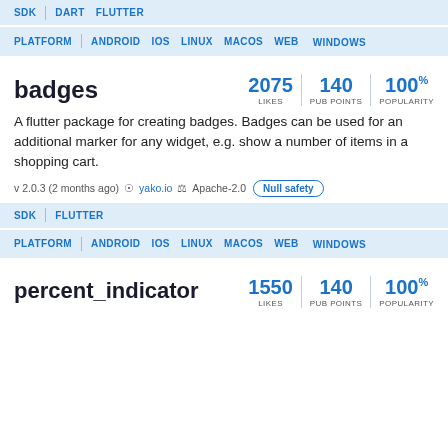SDK | DART FLUTTER
PLATFORM | ANDROID IOS LINUX MACOS WEB WINDOWS
badges
2075 LIKES | 140 PUB POINTS | 100% POPULARITY
A flutter package for creating badges. Badges can be used for an additional marker for any widget, e.g. show a number of items in a shopping cart.
v 2.0.3 (2 months ago) yako.io Apache-2.0 Null safety
SDK | FLUTTER
PLATFORM | ANDROID IOS LINUX MACOS WEB WINDOWS
percent_indicator
1550 LIKES | 140 PUB POINTS | 100% POPULARITY